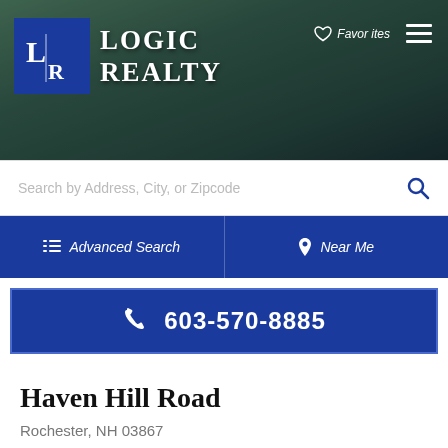[Figure (screenshot): Logic Realty logo with blue background square containing LR monogram and company name to the right]
Favorites
Search by Address, City, or Zipcode
Advanced Search
Near Me
603-570-8885
Haven Hill Road
Rochester, NH 03867
$160,000